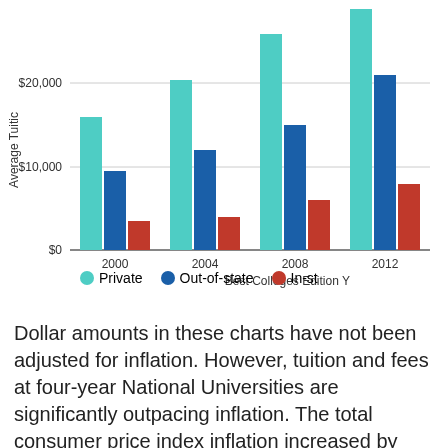[Figure (grouped-bar-chart): Average Tuition]
Dollar amounts in these charts have not been adjusted for inflation. However, tuition and fees at four-year National Universities are significantly outpacing inflation. The total consumer price index inflation increased by around 54% from August 1999 to August 2013.